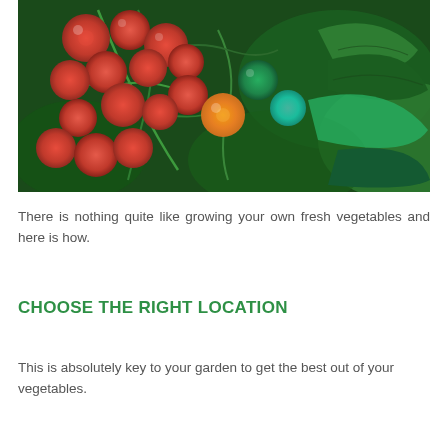[Figure (photo): Close-up photograph of cherry tomatoes on a vine, showing red, orange, and green tomatoes with green leaves and stems in the background.]
There is nothing quite like growing your own fresh vegetables and here is how.
CHOOSE THE RIGHT LOCATION
This is absolutely key to your garden to get the best out of your vegetables.